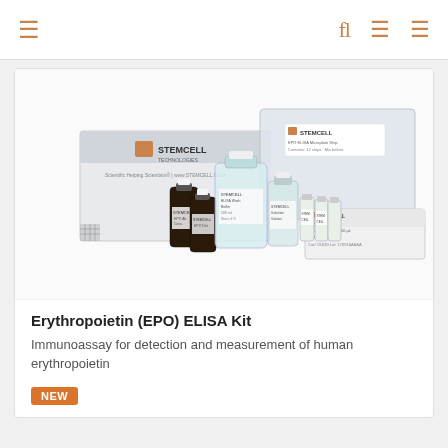navigation bar with icons
[Figure (photo): STEMCELL Technologies Erythropoietin (EPO) ELISA Kit product photo showing a white box with STEMCELL Technologies branding, multiple reagent bottles (dark amber and clear), a large clear bottle of solution, small vials, a large zip-lock bag labeled EPO Microplate Strip, and a microplate strip tray, all arranged on a white background.]
Erythropoietin (EPO) ELISA Kit
Immunoassay for detection and measurement of human erythropoietin
NEW